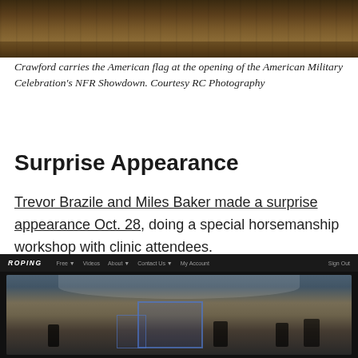[Figure (photo): Photo of Crawford carrying the American flag at the opening of the American Military Celebration's NFR Showdown, showing riders in an arena with dirt ground.]
Crawford carries the American flag at the opening of the American Military Celebration's NFR Showdown. Courtesy RC Photography
Surprise Appearance
Trevor Brazile and Miles Baker made a surprise appearance Oct. 28, doing a special horsemanship workshop with clinic attendees.
[Figure (screenshot): Screenshot of a website (appears to be a roping/equestrian site) showing a navigation bar and a video or photo of horses and riders in an indoor arena.]